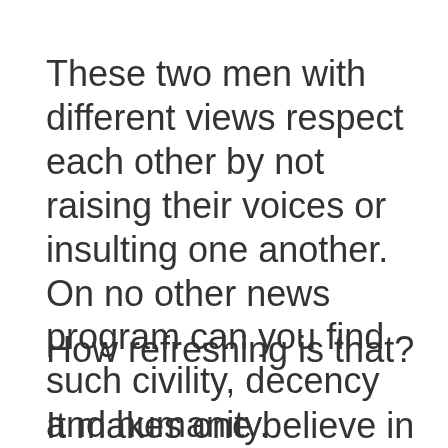These two men with different views respect each other by not raising their voices or insulting one another.  On no other news program can you find such civility, decency and humanity.
How refreshing is that?
It makes one believe in goodness, gives hope that we are not all